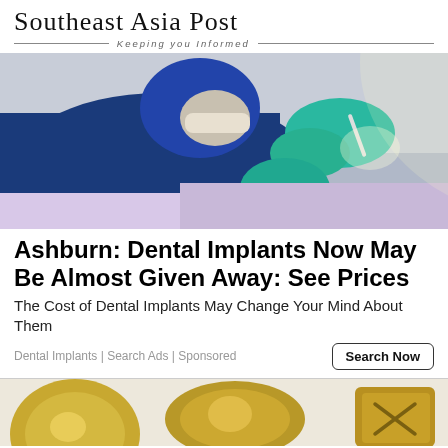Southeast Asia Post — Keeping you informed
[Figure (photo): Dentist in blue scrubs and teal gloves performing a dental procedure on a patient under bright light]
Ashburn: Dental Implants Now May Be Almost Given Away: See Prices
The Cost of Dental Implants May Change Your Mind About Them
Dental Implants | Search Ads | Sponsored
[Figure (photo): Close-up of gold-colored hardware or lock components on a light background]